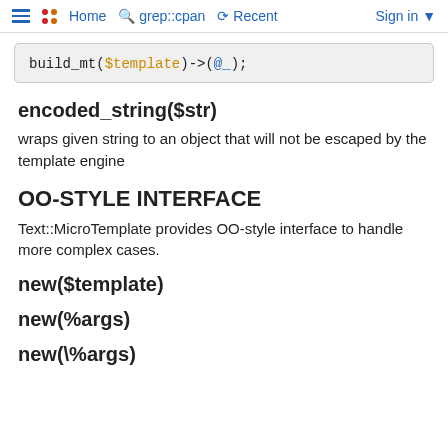Home   grep::cpan   Recent   Sign in
build_mt($template)->(@_);
encoded_string($str)
wraps given string to an object that will not be escaped by the template engine
OO-STYLE INTERFACE
Text::MicroTemplate provides OO-style interface to handle more complex cases.
new($template)
new(%args)
new(\%args)